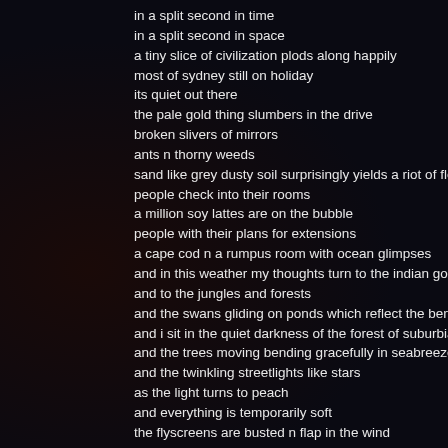in a split second in time
in a split second in space
a tiny slice of civilization plods along happily
most of sydney still on holiday
its quiet out there
the pale gold thing slumbers in the drive
broken slivers of mirrors
ants n thorny weeds
sand like grey dusty soil surprisingly yields a riot of flow
people check into their rooms
a million soy lattes are on the bubble
people with their plans for extensions
a cape cod n a rumpus room with ocean glimpses
and in this weather my thoughts turn to the indian gods
and to the jungles and forests
and the swans gliding on ponds which reflect the beng
and i sit in the quiet darkness of the forest of suburbia
and the trees moving bending gracefully in seabreezes
and the twinkling streetlights like stars
as the light turns to peach
and everything is temporarily soft
the flyscreens are busted n flap in the wind
clouds hover like equatorial fish